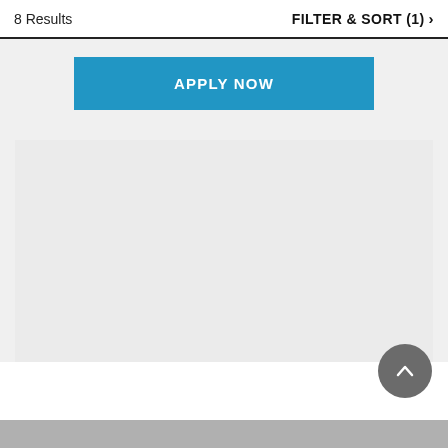8 Results   FILTER & SORT (1) >
APPLY NOW
[Figure (other): Large empty light gray placeholder card/image box]
[Figure (other): Scroll-to-top circular button with upward chevron icon, dark gray background]
[Figure (other): Bottom gray bar, partial view of next card]